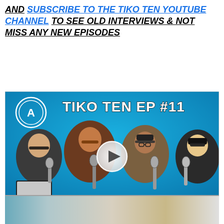AND SUBSCRIBE TO THE TIKO TEN YOUTUBE CHANNEL TO SEE OLD INTERVIEWS & NOT MISS ANY NEW EPISODES
[Figure (screenshot): Video thumbnail for Tiko Ten EP #11 showing four women seated at podcast microphones on a blue background, with a play button overlay in the center.]
[Figure (screenshot): Partial bottom preview of another video thumbnail, partially cut off.]